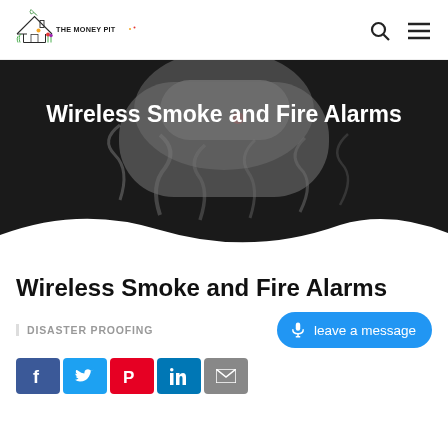[Figure (logo): The Money Pit logo — house outline with text 'THE MONEY PIT' and decorative flowers/plants]
[Figure (photo): Hero banner: smoke alarm on a dark smoky background with overlaid white bold text 'Wireless Smoke and Fire Alarms' inside a semi-transparent grey pill shape]
Wireless Smoke and Fire Alarms
DISASTER PROOFING
leave a message
[Figure (other): Social sharing buttons strip: Facebook (blue), Twitter (light blue), Pinterest (red), LinkedIn (dark blue), Email (grey)]